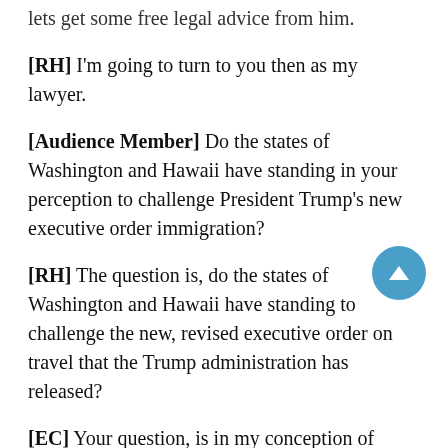lets get some free legal advice from him.
[RH] I'm going to turn to you then as my lawyer.
[Audience Member] Do the states of Washington and Hawaii have standing in your perception to challenge President Trump's new executive order immigration?
[RH] The question is, do the states of Washington and Hawaii have standing to challenge the new, revised executive order on travel that the Trump administration has released?
[EC] Your question, is in my conception of standing, would be easy. Yes. I think the more important question is under current standing law do they have standing? I would say yes they do. In fact, the Ninth Circuit, its ruling maybe a month ago, three weeks ago, specifically held that the state of Washington had standing to sue, in part because it's suing on behalf of its students and its other